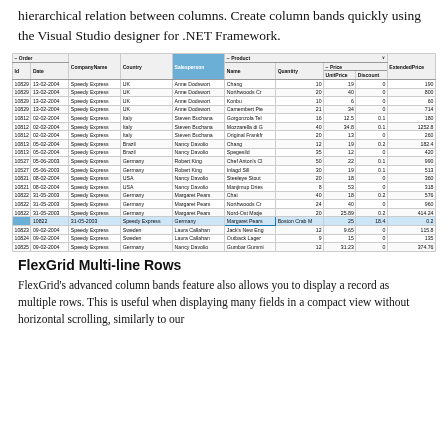hierarchical relation between columns. Create column bands quickly using the Visual Studio designer for .NET Framework.
| Id | Date | CompanyName | Country | Salesperson | Name | Quantity | UnitPrice | Discount | ExtendedPrice |
| --- | --- | --- | --- | --- | --- | --- | --- | --- | --- |
| 10829 | 13-02-2004 | Speedy Express | UK | Anne Dodswort | Chang | 10 | 19 | 0 | 190 |
| 10829 | 13-02-2004 | Speedy Express | UK | Anne Dodswort | Northwoods Cr | 20 | 40 | 0 | 800 |
| 10829 | 13-02-2004 | Speedy Express | UK | Anne Dodswort | Konbu | 10 | 6 | 0 | 60 |
| 10829 | 13-02-2004 | Speedy Express | UK | Anne Dodswort | Camembert Pie | 21 | 34 | 0 | 714 |
| 10812 | 02-02-2004 | Speedy Express | Italy | Steven Buchana | Gorgonzola Tel | 16 | 12.5 | 0.1 | 180 |
| 10812 | 02-02-2004 | Speedy Express | Italy | Steven Buchana | Mozzarella di G | 40 | 34.8 | 0.1 | 1252.8 |
| 10812 | 02-02-2004 | Speedy Express | Italy | Steven Buchana | Original Frankfr | 20 | 13 | 0 | 260 |
| 10813 | 05-02-2004 | Speedy Express | Brazil | Nancy Davolio | Chang | 12 | 19 | 0.2 | 182.4 |
| 10813 | 05-02-2004 | Speedy Express | Brazil | Nancy Davolio | Spegesild | 35 | 12 | 0 | 420 |
| 10527 | 05-06-2003 | Speedy Express | Germany | Robert King | Chef Anton's Cl | 50 | 22 | 0.1 | 990 |
| 10527 | 05-06-2003 | Speedy Express | Germany | Robert King | Inlagd Sill | 30 | 19 | 0.1 | 513 |
| 10821 | 08-02-2004 | Speedy Express | USA | Nancy Davolio | Steeleye Stout | 20 | 18 | 0 | 360 |
| 10821 | 08-02-2004 | Speedy Express | USA | Nancy Davolio | Manjimup Dries | 8 | 53 | 0 | 318 |
| 10822 | 31-05-2003 | Speedy Express | Germany | Margaret Pears | Chai | 40 | 18 | 0.2 | 576 |
| 10822 | 31-05-2003 | Speedy Express | Germany | Margaret Pears | Northwoods Cr | 24 | 40 | 0 | 960 |
| 10822 | 31-05-2003 | Speedy Express | Germany | Margaret Pears | Nord-Ost Matje | 20 | 25.89 | 0.2 | 414.24 |
| 10822 | 31-05-2003 | Speedy Express | Germany | Margaret Pears | Boston Crab M | 25 | 18.4 | 0.2 | 368 |
| 10823 | 09-02-2004 | Speedy Express | Sweden | Laura Callahan | Jack's New Eng | 12 | 9.65 | 0 | 115.8 |
| 10824 | 09-02-2004 | Speedy Express | Sweden | Laura Callahan | Outback Lager | 9 | 15 | 0 | 135 |
| 10825 | 09-02-2004 | Speedy Express | Germany | Nancy Davolio | Gumbar Gummi | 12 | 31.23 | 0 | 374.76 |
FlexGrid Multi-line Rows
FlexGrid's advanced column bands feature also allows you to display a record as multiple rows. This is useful when displaying many fields in a compact view without horizontal scrolling, similarly to our